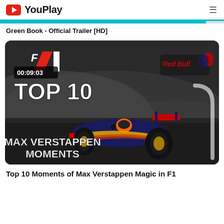YouPlay
Green Book - Official Trailer [HD]
[Figure (screenshot): Video thumbnail for 'Top 10 Moments of Max Verstappen Magic in F1'. Shows a Red Bull F1 car driving on a wet track with smoke/mist. Overlay text reads 'TOP 10' and 'MAX VERSTAPPEN MOMENTS'. F1 logo in top left. Red Bull logo on car. Duration badge shows 00:09:03.]
Top 10 Moments of Max Verstappen Magic in F1